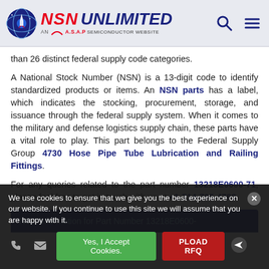NSN UNLIMITED - AN A.S.A.P SEMICONDUCTOR WEBSITE
than 26 distinct federal supply code categories.
A National Stock Number (NSN) is a 13-digit code to identify standardized products or items. An NSN parts has a label, which indicates the stocking, procurement, storage, and issuance through the federal supply system. When it comes to the military and defense logistics supply chain, these parts have a vital role to play. This part belongs to the Federal Supply Group 4730 Hose Pipe Tube Lubrication and Railing Fittings.
For any queries related to the part number 13218E0600-71, please feel free to get in touch with us at +1-714-705-4780.
NSN Information for Part Number 13218E0600-
We use cookies to ensure that we give you the best experience on our website. If you continue to use this site we will assume that you are happy with it.